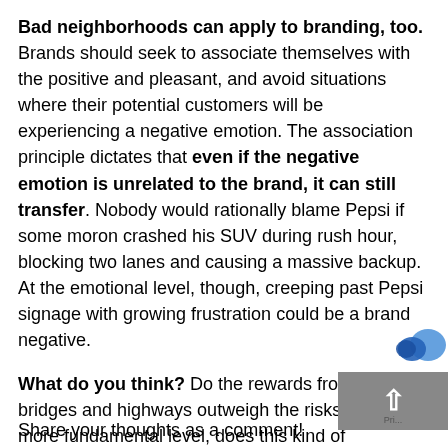Bad neighborhoods can apply to branding, too. Brands should seek to associate themselves with the positive and pleasant, and avoid situations where their potential customers will be experiencing a negative emotion. The association principle dictates that even if the negative emotion is unrelated to the brand, it can still transfer. Nobody would rationally blame Pepsi if some moron crashed his SUV during rush hour, blocking two lanes and causing a massive backup. At the emotional level, though, creeping past Pepsi signage with growing frustration could be a brand negative.
What do you think? Do the rewards from branded bridges and highways outweigh the risks? And, at a more fundamental level, does this kind of commercialization trivialize public projects. Should “Kennedy” and “MacArthur” be replaced by “Starbucks” and “Sams... Share your thoughts as a comment!